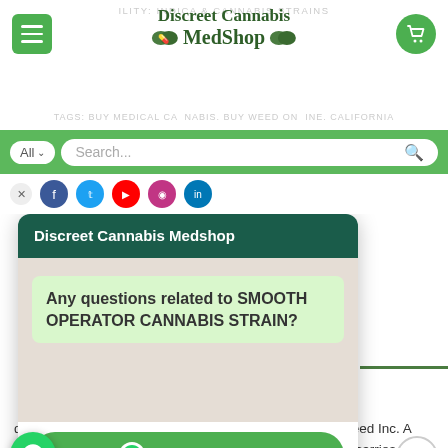Discreet Cannabis MedShop
Search...
[Figure (screenshot): WhatsApp chat popup from Discreet Cannabis Medshop asking 'Any questions related to SMOOTH OPERATOR CANNABIS STRAIN?' with a WhatsApp Us button and 'we are online | privacy policy' text]
developed by prolific Boulder-based growers Colorado Seed Inc. A cross between Purple Trainwreck and Rug Burn OG, it carries a complex, diesel-tinged aroma and a dynamic, multilayered